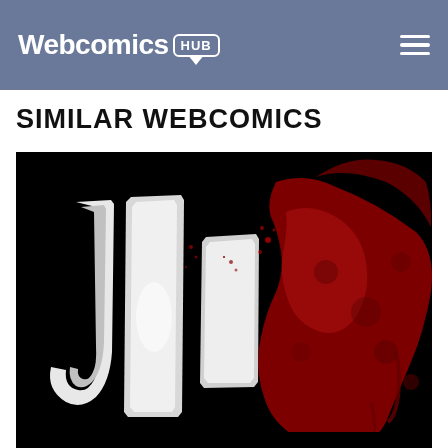Webcomics HUB
SIMILAR WEBCOMICS
[Figure (illustration): Dark webcomic logo/artwork featuring white torn paper letter shapes 'JIF' on a black background with red blood splatter effects on the right side]